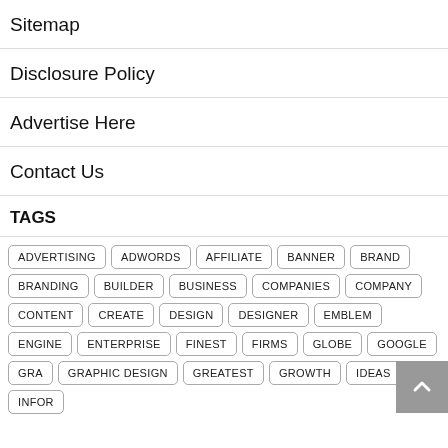Sitemap
Disclosure Policy
Advertise Here
Contact Us
TAGS
ADVERTISING ADWORDS AFFILIATE BANNER BRAND BRANDING BUILDER BUSINESS COMPANIES COMPANY CONTENT CREATE DESIGN DESIGNER EMBLEM ENGINE ENTERPRISE FINEST FIRMS GLOBE GOOGLE GRA GRAPHIC DESIGN GREATEST GROWTH IDEAS INFOR